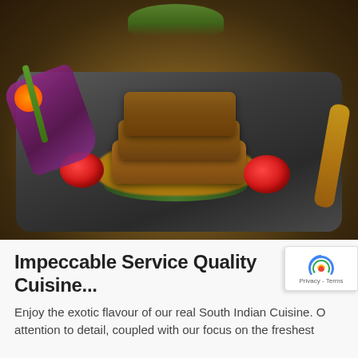[Figure (photo): Close-up photograph of a gourmet South Indian cuisine dish: stacked fried patties on a dark slate plate, served with yellow mashed base, cherry tomatoes, purple cabbage garnish, orange flower, green stems, and yellow ribbon garnish.]
Impeccable Service Quality Cuisine...
Enjoy the exotic flavour of our real South Indian Cuisine. O... attention to detail, coupled with our focus on the freshest